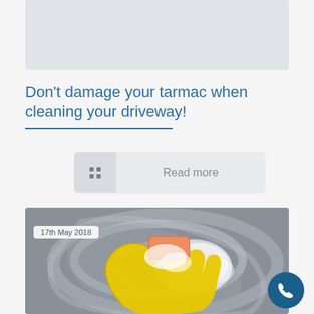[Figure (photo): Partially visible image at the top of the page, grey/light background placeholder]
Don’t damage your tarmac when cleaning your driveway!
Read more
[Figure (photo): Photo of a hand wearing a yellow rubber glove, scrubbing a grey tarmac surface with a sponge and soapy foam, with swirling foam patterns visible]
17th May 2018